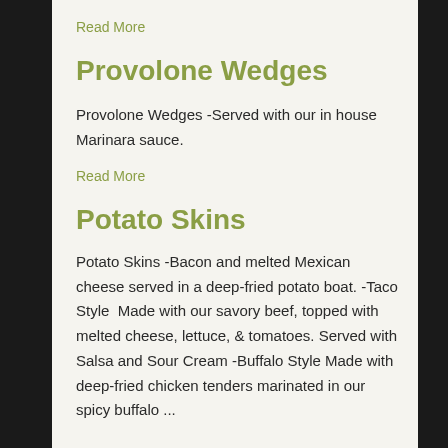Read More
Provolone Wedges
Provolone Wedges -Served with our in house Marinara sauce.
Read More
Potato Skins
Potato Skins -Bacon and melted Mexican cheese served in a deep-fried potato boat. -Taco Style  Made with our savory beef, topped with melted cheese, lettuce, & tomatoes. Served with Salsa and Sour Cream -Buffalo Style Made with deep-fried chicken tenders marinated in our spicy buffalo ...